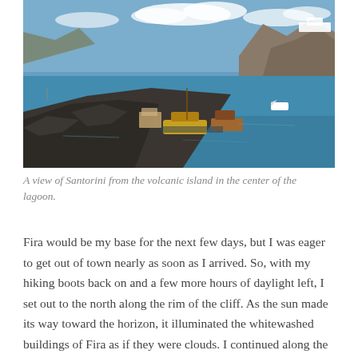[Figure (photo): Aerial/elevated view of Santorini from the volcanic island in the center of the lagoon. Rocky volcanic foreground with boats docked at a small harbor, blue caldera waters, and the dramatic cliffs of Santorini in the background under a partly cloudy sky.]
A view of Santorini from the volcanic island in the center of the lagoon.
Fira would be my base for the next few days, but I was eager to get out of town nearly as soon as I arrived. So, with my hiking boots back on and a few more hours of daylight left, I set out to the north along the rim of the cliff. As the sun made its way toward the horizon, it illuminated the whitewashed buildings of Fira as if they were clouds. I continued along the road, and the white walls around me eventually gave way to open views of the